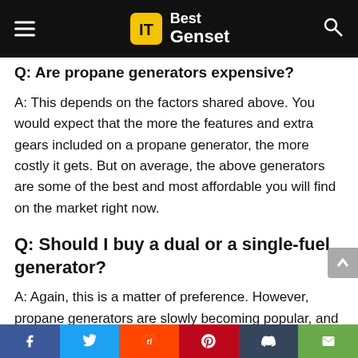Best Genset
Q: Are propane generators expensive?
A: This depends on the factors shared above. You would expect that the more the features and extra gears included on a propane generator, the more costly it gets. But on average, the above generators are some of the best and most affordable you will find on the market right now.
Q: Should I buy a dual or a single-fuel generator?
A: Again, this is a matter of preference. However, propane generators are slowly becoming popular, and